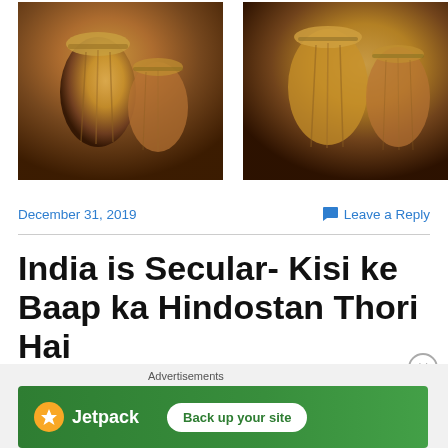[Figure (photo): Two copper/bronze decorative containers or tumblers with engraved patterns, photographed on a dark surface - left image]
[Figure (photo): Two copper/bronze decorative containers or tumblers photographed on a dark surface - right image]
December 31, 2019
Leave a Reply
India is Secular- Kisi ke Baap ka Hindostan Thori Hai
Advertisements
[Figure (screenshot): Jetpack advertisement banner with green background showing Jetpack logo and 'Back up your site' button]